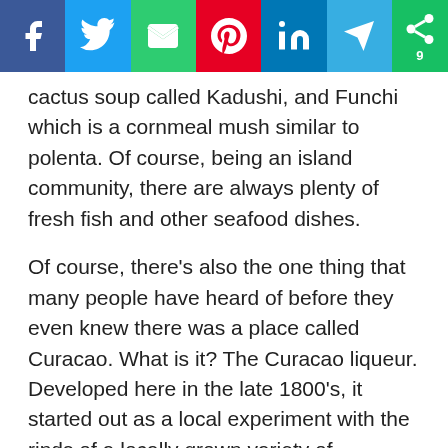[Figure (other): Social media share bar with icons for Facebook, Twitter, Email, Pinterest, LinkedIn, Telegram, and a share count button showing 9]
cactus soup called Kadushi, and Funchi which is a cornmeal mush similar to polenta. Of course, being an island community, there are always plenty of fresh fish and other seafood dishes.
Of course, there's also the one thing that many people have heard of before they even knew there was a place called Curacao. What is it? The Curacao liqueur. Developed here in the late 1800's, it started out as a local experiment with the rinds of a locally grown variety of oranges, which themselves weren't very edible. How is it made? Curacao liqueur is processed with the dried peels of the "Laraha" (Curacao native orange), which when dried by the sun, contains an etheric oil with a pleasing fragrance